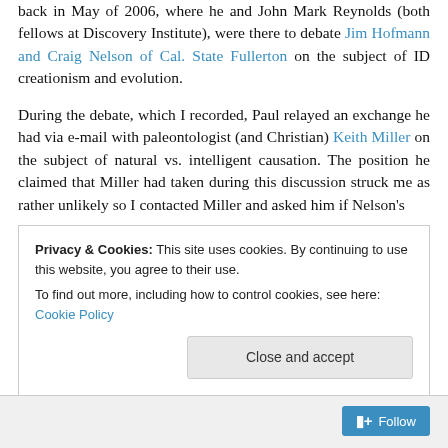back in May of 2006, where he and John Mark Reynolds (both fellows at Discovery Institute), were there to debate Jim Hofmann and Craig Nelson of Cal. State Fullerton on the subject of ID creationism and evolution.
During the debate, which I recorded, Paul relayed an exchange he had via e-mail with paleontologist (and Christian) Keith Miller on the subject of natural vs. intelligent causation. The position he claimed that Miller had taken during this discussion struck me as rather unlikely so I contacted Miller and asked him if Nelson's characterization of his position was accurate.
Privacy & Cookies: This site uses cookies. By continuing to use this website, you agree to their use. To find out more, including how to control cookies, see here: Cookie Policy
Close and accept